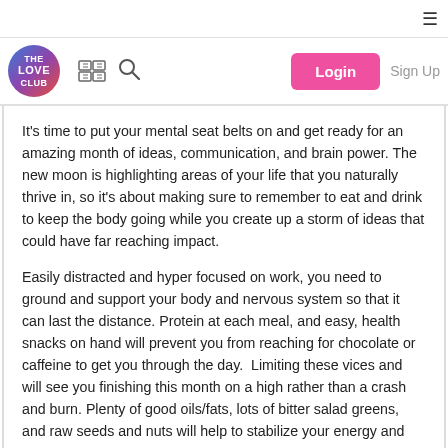≡
[Figure (logo): The Love Club circular logo with gradient blue-purple-red background and white text reading THE LOVE CLUB]
It's time to put your mental seat belts on and get ready for an amazing month of ideas, communication, and brain power. The new moon is highlighting areas of your life that you naturally thrive in, so it's about making sure to remember to eat and drink to keep the body going while you create up a storm of ideas that could have far reaching impact.
Easily distracted and hyper focused on work, you need to ground and support your body and nervous system so that it can last the distance. Protein at each meal, and easy, health snacks on hand will prevent you from reaching for chocolate or caffeine to get you through the day.  Limiting these vices and will see you finishing this month on a high rather than a crash and burn. Plenty of good oils/fats, lots of bitter salad greens, and raw seeds and nuts will help to stabilize your energy and